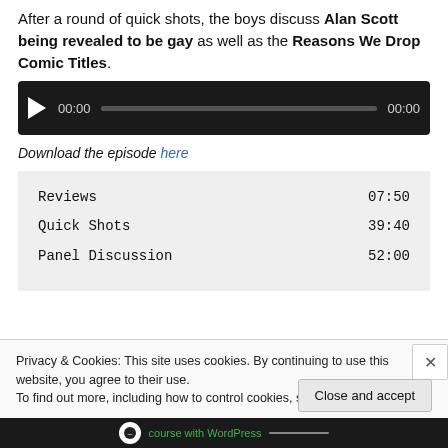After a round of quick shots, the boys discuss Alan Scott being revealed to be gay as well as the Reasons We Drop Comic Titles.
[Figure (other): Audio player widget with dark background, play button, progress bar showing 00:00 elapsed and 00:00 total time]
Download the episode here
| Reviews | 07:50 |
| Quick Shots | 39:40 |
| Panel Discussion | 52:00 |
Privacy & Cookies: This site uses cookies. By continuing to use this website, you agree to their use.
To find out more, including how to control cookies, see here: Cookie Policy